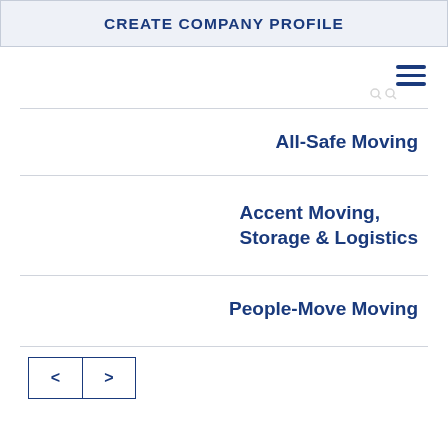CREATE COMPANY PROFILE
[Figure (other): Hamburger menu icon (three horizontal lines)]
All-Safe Moving
Accent Moving, Storage & Logistics
People-Move Moving
[Figure (other): Navigation buttons: left arrow < and right arrow >]